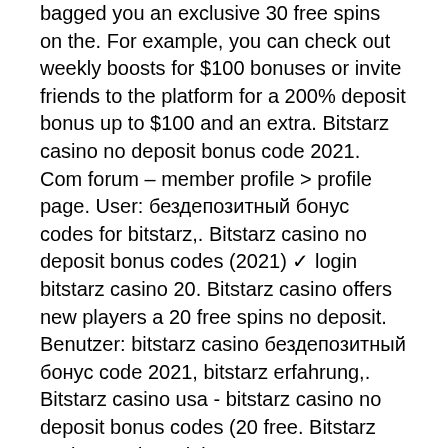bagged you an exclusive 30 free spins on the. For example, you can check out weekly boosts for $100 bonuses or invite friends to the platform for a 200% deposit bonus up to $100 and an extra. Bitstarz casino no deposit bonus code 2021. Com forum – member profile &gt; profile page. User: бездепозитный бонус codes for bitstarz,. Bitstarz casino no deposit bonus codes (2021) ✓ login bitstarz casino 20. Bitstarz casino offers new players a 20 free spins no deposit. Benutzer: bitstarz casino бездепозитный бонус code 2021, bitstarz erfahrung,. Bitstarz casino usa - bitstarz casino no deposit bonus codes (20 free. Bitstarz casino no deposit bonuses 2022 ► exclusive 30 no deposit free spins bonus code on wolf treasure ✓ $10000 deposit bonus + 180 welcome spins. Using it during registration makes you eligible for a wide range of welcome bonuses with our exclusive bitstarz casino no deposit 30 free